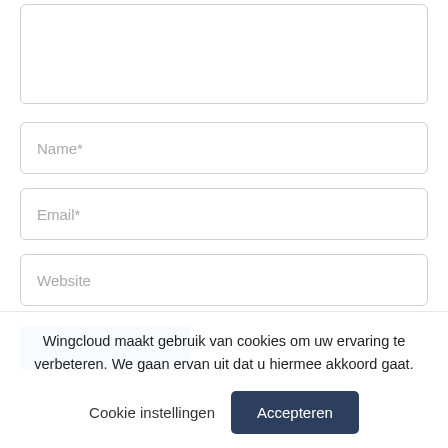[Figure (screenshot): A textarea input box at the top of the form, with a light gray rounded border and white background, mostly empty.]
Name*
Email*
Website
Wingcloud maakt gebruik van cookies om uw ervaring te verbeteren. We gaan ervan uit dat u hiermee akkoord gaat.
Cookie instellingen
Accepteren